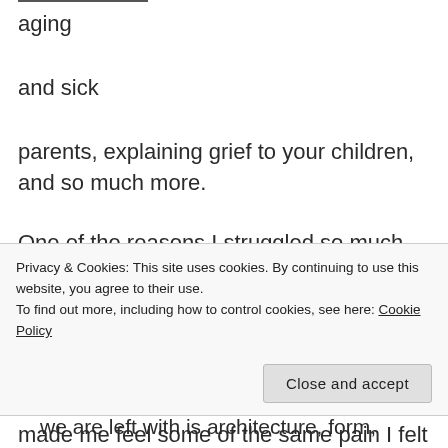aging
and sick
parents, explaining grief to your children, and so much more.
One of the reasons I struggled so much with this collection is due to the death of my own mother back in 2010. Even a decade later (which honestly feels unreal), the grief is still a raw wound. These poems opened that wound and made me feel some of the same pain I felt all those years ago.
Privacy & Cookies: This site uses cookies. By continuing to use this website, you agree to their use.
To find out more, including how to control cookies, see here: Cookie Policy
we are left with is architecture, form,